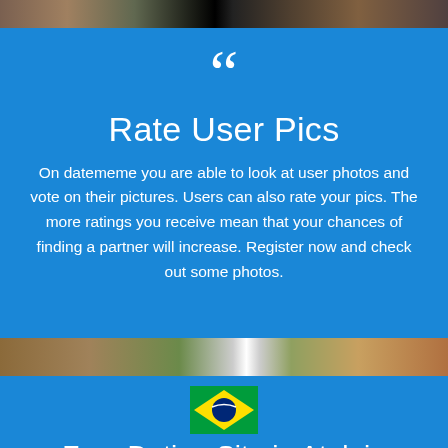[Figure (photo): Top strip showing partial user photos background collage]
Rate User Pics
On datememe you are able to look at user photos and vote on their pictures. Users can also rate your pics. The more ratings you receive mean that your chances of finding a partner will increase. Register now and check out some photos.
[Figure (photo): Middle strip showing partial user photos in a horizontal band]
[Figure (illustration): Brazilian flag icon]
Free Dating Site in Atalaia
[Figure (map): Partial map preview showing Palmeira on left and São Migue on right]